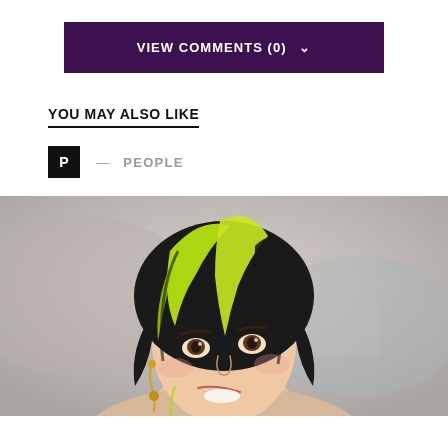VIEW COMMENTS (0)
YOU MAY ALSO LIKE
P — PEOPLE
[Figure (photo): Close-up photo of a young woman with neon green and black hair, smiling, wearing gold earrings against a blurred gray background]